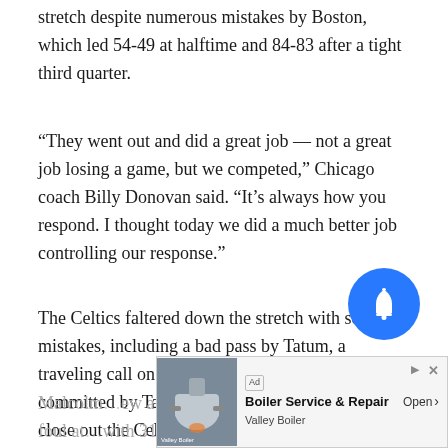stretch despite numerous mistakes by Boston, which led 54-49 at halftime and 84-83 after a tight third quarter.
“They went out and did a great job — not a great job losing a game, but we competed,” Chicago coach Billy Donovan said. “It’s always how you respond. I thought today we did a much better job controlling our response.”
The Celtics faltered down the stretch with several mistakes, including a bad pass by Tatum, a traveling call on Brown and an offensive foul committed by Tatum. But Chicago couldn’t quite close out the Celtics, who still had a chance after Brown hit from the corner to pull the Celtics within 112-110 with 1:06 left.
Malcolm ... ew a foul at ... with 31
[Figure (other): Blue circular notification bell button overlay]
[Figure (other): Ad banner: Boiler Service & Repair - Valley Boiler, with ad image thumbnail showing industrial boiler equipment. Open button on right.]